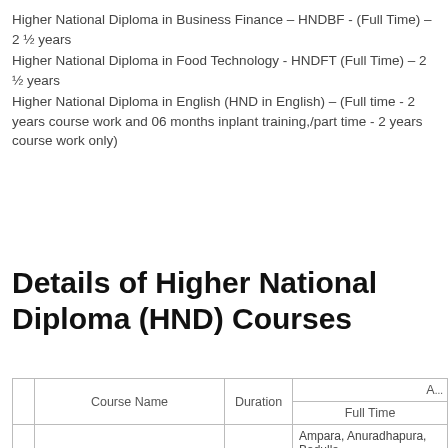Higher National Diploma in Business Finance – HNDBF - (Full Time) – 2 ½ years
Higher National Diploma in Food Technology - HNDFT (Full Time) – 2 ½ years
Higher National Diploma in English (HND in English) – (Full time - 2 years course work and 06 months inplant training,/part time - 2 years course work only)
Details of Higher National Diploma (HND) Courses
|  | Course Name | Duration | A... |
| --- | --- | --- | --- |
|  |  | Full Time |  |
|  |  | Ampara, Anuradhapura, Badulla, |  |